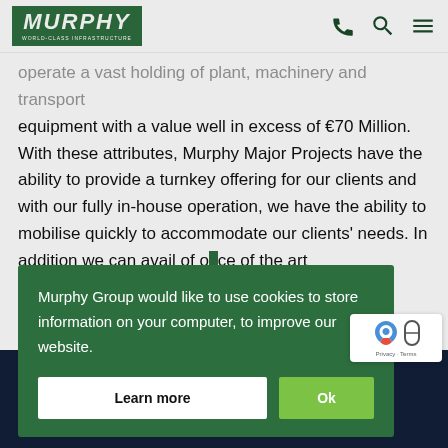MURPHY - World-Class Infrastructure
operate a vast holding of plant, machinery and transport equipment with a value well in excess of €70 Million. With these attributes, Murphy Major Projects have the ability to provide a turnkey offering for our clients and with our fully in-house operation, we have the ability to mobilise quickly to accommodate our clients' needs. In addition we can avail of o[...] ce of the art T[...]
[Figure (screenshot): Cookie consent modal overlay from Murphy Group website. Dark green box with white text reading 'Murphy Group would like to use cookies to store information on your computer, to improve our website.' with two buttons: 'Learn more' (white) and 'Ok' (green). Also shows reCAPTCHA badge in bottom right corner, and a dark navy banner with 'valued' text at the bottom of the page.]